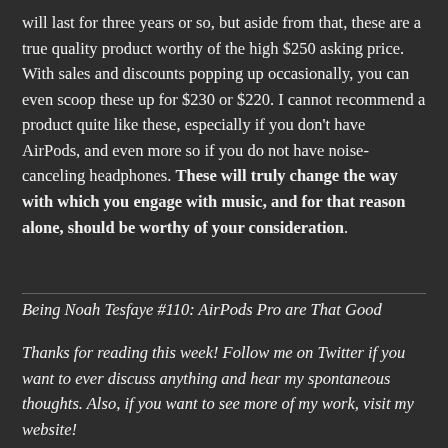will last for three years or so, but aside from that, these are a true quality product worthy of the high $250 asking price. With sales and discounts popping up occasionally, you can even scoop these up for $230 or $220. I cannot recommend a product quite like these, especially if you don't have AirPods, and even more so if you do not have noise-canceling headphones. These will truly change the way with which you engage with music, and for that reason alone, should be worthy of your consideration.
Being Noah Tesfaye #110: AirPods Pro are That Good
Thanks for reading this week! Follow me on Twitter if you want to ever discuss anything and hear my spontaneous thoughts. Also, if you want to see more of my work, visit my website!